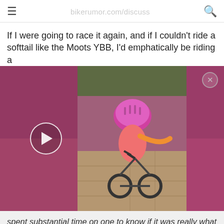≡  [site title]  🔍
If I were going to race it again, and if I couldn't ride a softtail like the Moots YBB, I'd emphatically be riding a
[Figure (photo): Video thumbnail showing a young child in a pink helmet and pink outfit riding a small bicycle on a paved path, with a play button overlay on the left side and a close button in the upper right.]
spent substantial time on one to know if it was really what I needed.
Agreed on tires -- big and squishy at some reasonable